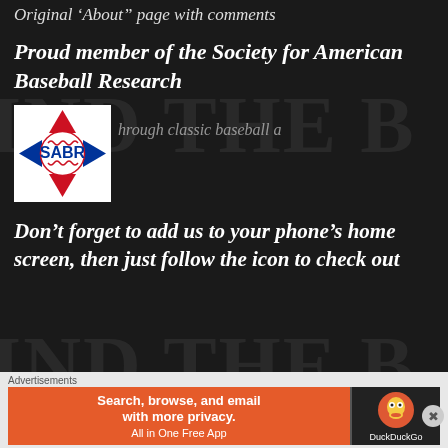Original ‘About” page with comments
Proud member of the Society for American Baseball Research
[Figure (logo): SABR (Society for American Baseball Research) logo — diamond shape with baseball stitching, blue diamond/arrowhead shapes on sides, red triangles top and bottom, SABR text in blue center]
hrough classic baseball a
Don’t forget to add us to your phone’s home screen, then just follow the icon to check out
Advertisements
[Figure (screenshot): DuckDuckGo advertisement: orange background on left with text 'Search, browse, and email with more privacy. All in One Free App', dark background on right with DuckDuckGo duck logo]